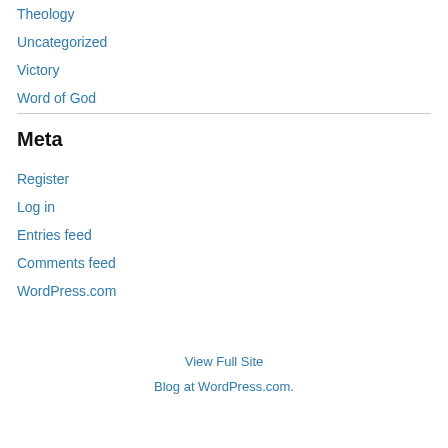Theology
Uncategorized
Victory
Word of God
Meta
Register
Log in
Entries feed
Comments feed
WordPress.com
View Full Site
Blog at WordPress.com.